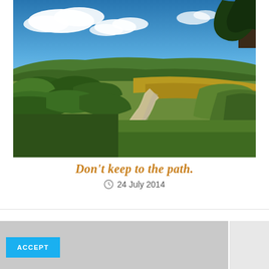[Figure (photo): Outdoor landscape photo showing a dirt path winding through green fields and shrubs under a blue sky with white clouds. Trees visible on the right and background hills with forests.]
Don't keep to the path.
24 July 2014